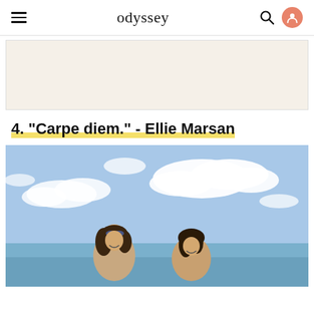odyssey
[Figure (other): Advertisement placeholder block with light beige/cream background]
4. "Carpe diem." - Ellie Marsan
[Figure (photo): Two young women smiling at the beach with blue sky and clouds in the background]